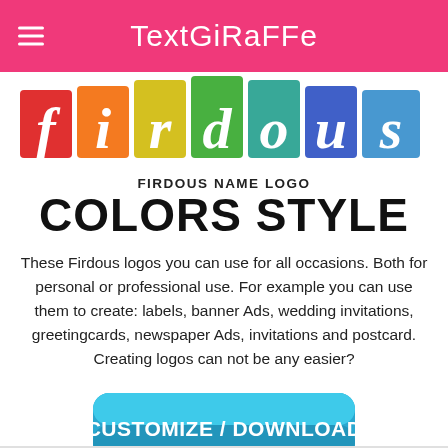TextGiraffe
[Figure (logo): Colorful letter blocks spelling 'firdous' with each letter on a colored square background (red, orange, yellow, green, teal, blue, light blue)]
FIRDOUS NAME LOGO
COLORS STYLE
These Firdous logos you can use for all occasions. Both for personal or professional use. For example you can use them to create: labels, banner Ads, wedding invitations, greetingcards, newspaper Ads, invitations and postcard. Creating logos can not be any easier?
[Figure (other): Blue rounded button with text CUSTOMIZE / DOWNLOAD]